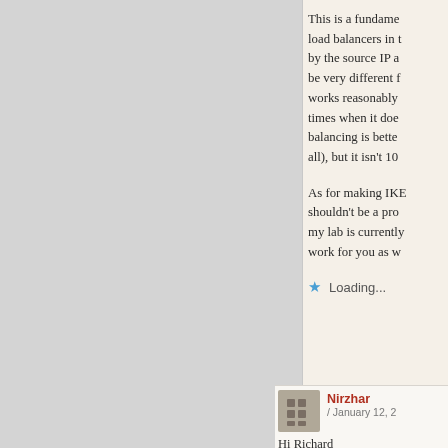This is a fundamental problem with load balancers in that they can only see by the source IP address, which can be very different from actual load. It works reasonably well most of the time, times when it doesn't, round-robin load balancing is better (and simpler overall), but it isn't 100% either.
As for making IKE work, it shouldn't be a problem. My lab is currently setup for it, it should work for you as well.
Loading...
Nirzhar / January 12, 2
Hi Richard